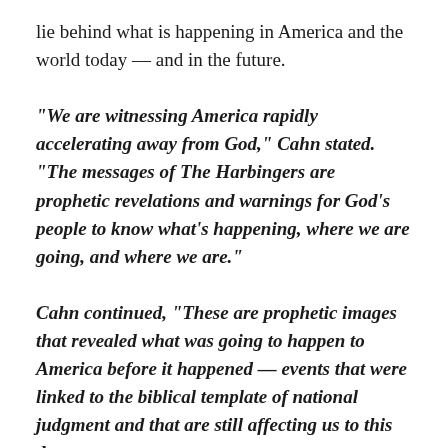lie behind what is happening in America and the world today — and in the future.
“We are witnessing America rapidly accelerating away from God,” Cahn stated. “The messages of The Harbingers are prophetic revelations and warnings for God’s people to know what’s happening, where we are going, and where we are.”
Cahn continued, “These are prophetic images that revealed what was going to happen to America before it happened — events that were linked to the biblical template of national judgment and that are still affecting us to this day.